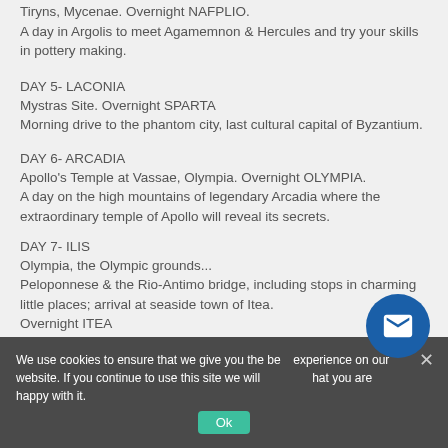Tiryns, Mycenae. Overnight NAFPLIO.
A day in Argolis to meet Agamemnon & Hercules and try your skills in pottery making.
DAY 5- LACONIA
Mystras Site. Overnight SPARTA
Morning drive to the phantom city, last cultural capital of Byzantium.
DAY 6- ARCADIA
Apollo's Temple at Vassae, Olympia. Overnight OLYMPIA.
A day on the high mountains of legendary Arcadia where the extraordinary temple of Apollo will reveal its secrets.
DAY 7- ILIS
Olympia, the Olympic grounds... Peloponnese & the Rio-Antimo bridge, including stops in charming little places; arrival at seaside town of Itea.
Overnight ITEA
We use cookies to ensure that we give you the best experience on our website. If you continue to use this site we will assume that you are happy with it.